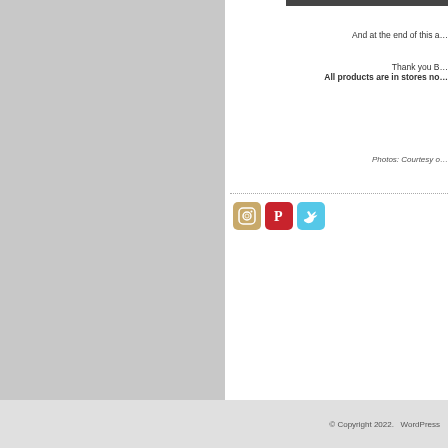[Figure (photo): Partial photo visible at top right corner of page, appears to be a product or lifestyle image, mostly cropped out]
And at the end of this a…
Thank you B… All products are in stores no…
Photos: Courtesy o…
[Figure (illustration): Row of three social media icons: Instagram (camera icon with orange/tan background), Pinterest (P icon with red background), Twitter (bird icon with cyan/blue background)]
© Copyright 2022.  WordPress